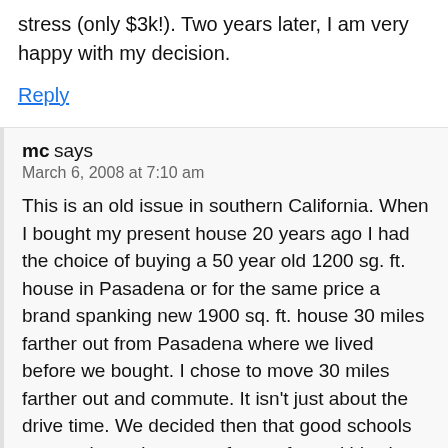stress (only $3k!). Two years later, I am very happy with my decision.
Reply
mc says
March 6, 2008 at 7:10 am
This is an old issue in southern California. When I bought my present house 20 years ago I had the choice of buying a 50 year old 1200 sg. ft. house in Pasadena or for the same price a brand spanking new 1900 sq. ft. house 30 miles farther out from Pasadena where we lived before we bought. I chose to move 30 miles farther out and commute. It isn't just about the drive time. We decided then that good schools were going to important for our future kids since we did not want to pay for private schools.